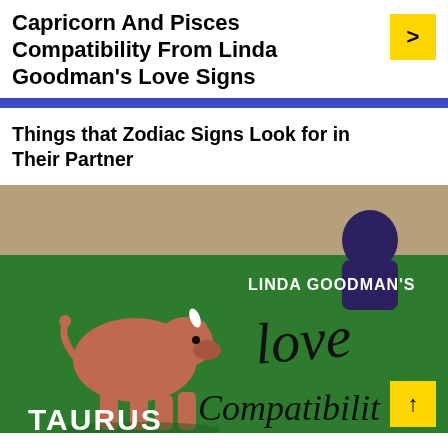Capricorn And Pisces Compatibility From Linda Goodman's Love Signs
Things that Zodiac Signs Look for in Their Partner
[Figure (illustration): Book cover illustration showing Linda Goodman's Love Compatibility book with a cartoon Taurus bull on a green background and the text 'LINDA GOODMAN'S love Compatibility' with 'TAURUS' written at the bottom left.]